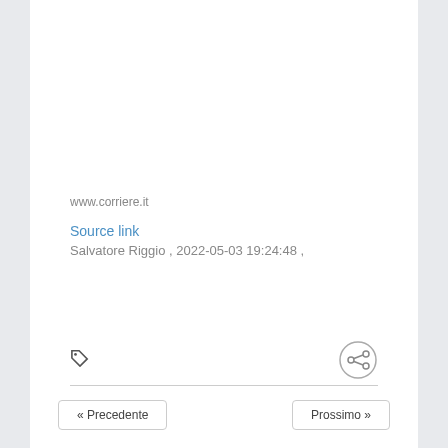www.corriere.it
Source link
Salvatore Riggio , 2022-05-03 19:24:48 ,
« Precedente
Prossimo »